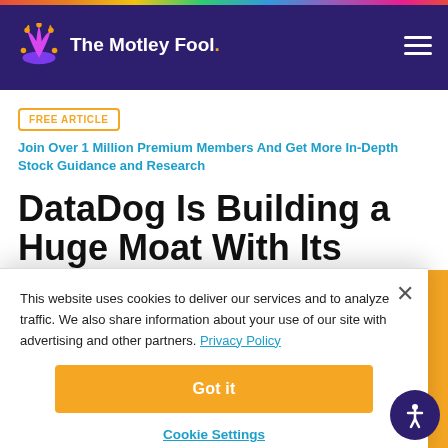The Motley Fool
FREE ARTICLE  Join Over 1 Million Premium Members And Get More In-Depth Stock Guidance and Research
DataDog Is Building a Huge Moat With Its Sticky Ecosystem
This website uses cookies to deliver our services and to analyze traffic. We also share information about your use of our site with advertising and other partners. Privacy Policy
Got it
Cookie Settings